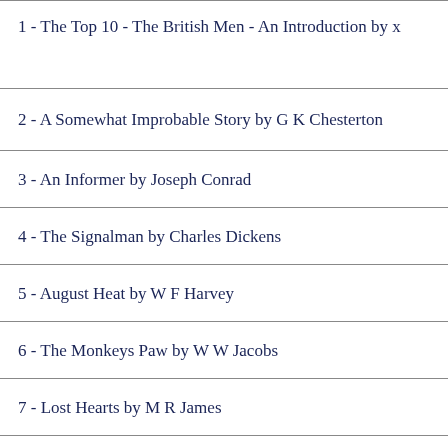1 - The Top 10 - The British Men - An Introduction by x
2 - A Somewhat Improbable Story by G K Chesterton
3 - An Informer by Joseph Conrad
4 - The Signalman by Charles Dickens
5 - August Heat by W F Harvey
6 - The Monkeys Paw by W W Jacobs
7 - Lost Hearts by M R James
8 - The Man Who Would Be King by Rudyard Kipling